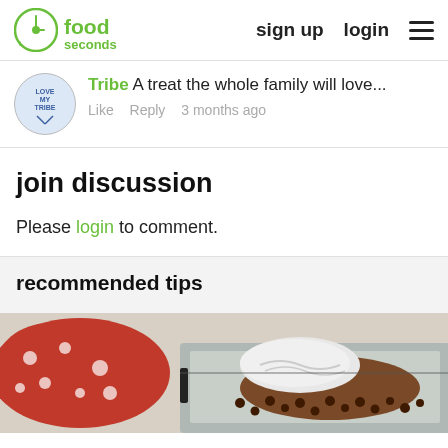30 seconds food — sign up  login
Tribe  A treat the whole family will love...
Like  Reply  3 months ago
join discussion
Please login to comment.
recommended tips
[Figure (photo): Food photo showing baked chocolate chip treats on a baking tray with powdered sugar, and a red polka-dot cloth in the background.]